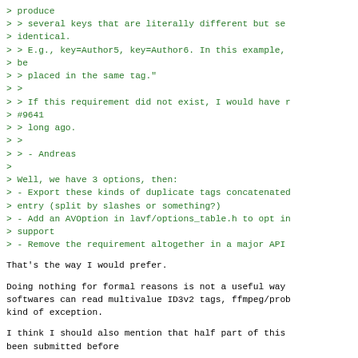> produce
> > several keys that are literally different but se
> identical.
> > E.g., key=Author5, key=Author6. In this example,
> be
> > placed in the same tag."
> >
> > If this requirement did not exist, I would have r
> #9641
> > long ago.
> >
> > - Andreas
>
> Well, we have 3 options, then:
> - Export these kinds of duplicate tags concatenated
> entry (split by slashes or something?)
> - Add an AVOption in lavf/options_table.h to opt in
> support
> - Remove the requirement altogether in a major API
That's the way I would prefer.
Doing nothing for formal reasons is not a useful way
softwares can read multivalue ID3v2 tags, ffmpeg/prob
kind of exception.
I think I should also mention that half part of this
been submitted before
https://patchwork.ffmpeg.org/project/ffmpeg/patch/11:
Best regards,